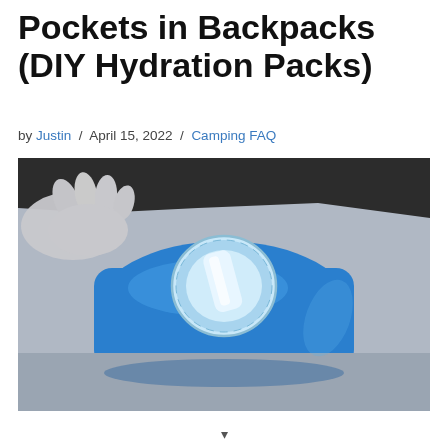Pockets in Backpacks (DIY Hydration Packs)
by Justin / April 15, 2022 / Camping FAQ
[Figure (photo): Close-up photo of a blue hydration bladder with a clear screw-cap lid being inserted into a backpack's hydration pocket. A gloved hand is lifting the dark flap of the pack to reveal the blue water reservoir inside.]
v